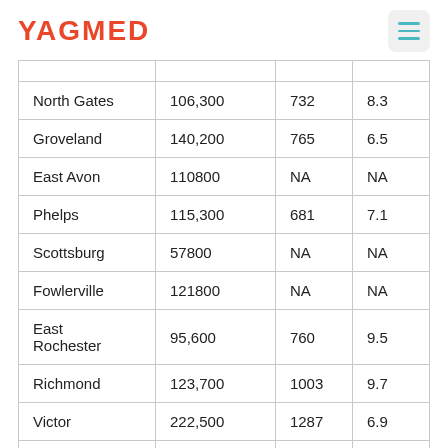YAGMED
| North Gates | 106,300 | 732 | 8.3 |
| Groveland | 140,200 | 765 | 6.5 |
| East Avon | 110800 | NA | NA |
| Phelps | 115,300 | 681 | 7.1 |
| Scottsburg | 57800 | NA | NA |
| Fowlerville | 121800 | NA | NA |
| East Rochester | 95,600 | 760 | 9.5 |
| Richmond | 123,700 | 1003 | 9.7 |
| Victor | 222,500 | 1287 | 6.9 |
| Webster | 171,900 | 898 | 6.3 |